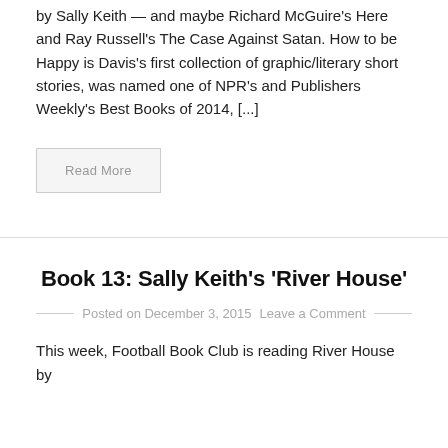by Sally Keith — and maybe Richard McGuire's Here and Ray Russell's The Case Against Satan. How to be Happy is Davis's first collection of graphic/literary short stories, was named one of NPR's and Publishers Weekly's Best Books of 2014, [...]
Read More
Book 13: Sally Keith's 'River House'
Posted on December 3, 2015   Leave a Comment
This week, Football Book Club is reading River House by